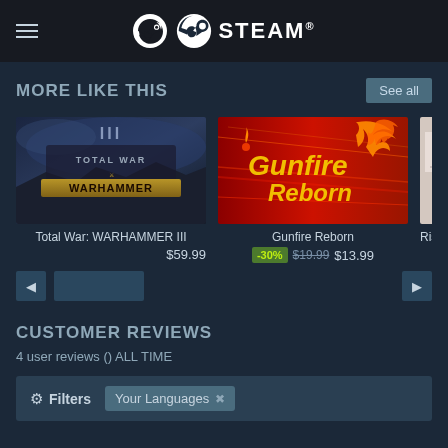STEAM
MORE LIKE THIS
See all
[Figure (screenshot): Total War: WARHAMMER III game thumbnail - dark fantasy battle scene with WARHAMMER III logo]
Total War: WARHAMMER III
$59.99
[Figure (screenshot): Gunfire Reborn game thumbnail - red background with yellow/orange Gunfire Reborn logo and flaming phoenix]
Gunfire Reborn
-30% $19.99 $13.99
[Figure (screenshot): Partially visible third game thumbnail]
Risk
CUSTOMER REVIEWS
4 user reviews () ALL TIME
Filters
Your Languages